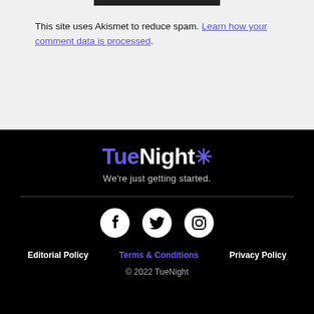This site uses Akismet to reduce spam. Learn how your comment data is processed.
[Figure (logo): TueNight logo with asterisk/star in purple on black background, with tagline 'We're just getting started.']
[Figure (infographic): Three social media icons: Facebook, Twitter, Instagram — white icons on dark circular backgrounds]
Editorial Policy   Terms & Conditions   Privacy Policy
© 2022 TueNight